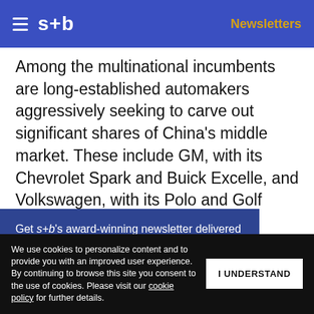s+b | Newsletters
Among the multinational incumbents are long-established automakers aggressively seeking to carve out significant shares of China's middle market. These include GM, with its Chevrolet Spark and Buick Excelle, and Volkswagen, with its Polo and Golf models. All of these multinationals pursue this market … ese partners. … omobile
Get s+b's award-winning newsletter delivered to your inbox.
We use cookies to personalize content and to provide you with an improved user experience. By continuing to browse this site you consent to the use of cookies. Please visit our cookie policy for further details.